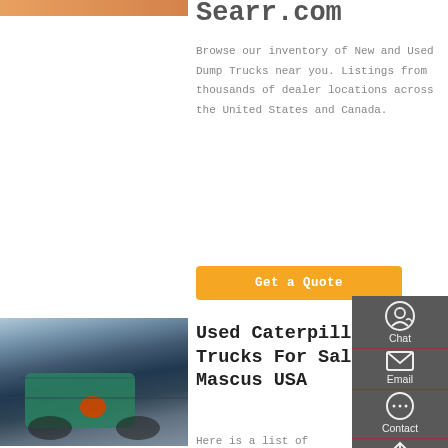[Figure (photo): Partial orange/brown image at top left, cropped]
Searr.com
Browse our inventory of New and Used Dump Trucks near you. Listings from thousands of dealer locations across the United States and Canada.
Get a Quote
[Figure (photo): Underside/undercarriage of a truck with teal/green axle component and orange/red part visible]
Used Caterpillar Dump Trucks For Sale - Mascus USA
Here is a list of